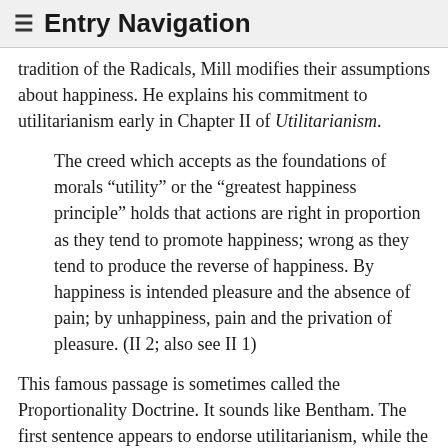≡ Entry Navigation
tradition of the Radicals, Mill modifies their assumptions about happiness. He explains his commitment to utilitarianism early in Chapter II of Utilitarianism.
The creed which accepts as the foundations of morals “utility” or the “greatest happiness principle” holds that actions are right in proportion as they tend to promote happiness; wrong as they tend to produce the reverse of happiness. By happiness is intended pleasure and the absence of pain; by unhappiness, pain and the privation of pleasure. (II 2; also see II 1)
This famous passage is sometimes called the Proportionality Doctrine. It sounds like Bentham. The first sentence appears to endorse utilitarianism, while the second sentence appears to endorse a hedonistic conception of utilitarianism.
Hedonism implies that the mental state of pleasure is the only thing having intrinsic value (and the mental state of pain is the only intrinsic evil). All other things have only